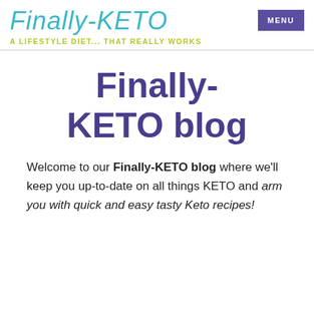Finally-KETO | A LIFESTYLE DIET... THAT REALLY WORKS | MENU
Finally-KETO blog
Welcome to our Finally-KETO blog where we'll keep you up-to-date on all things KETO and arm you with quick and easy tasty Keto recipes!